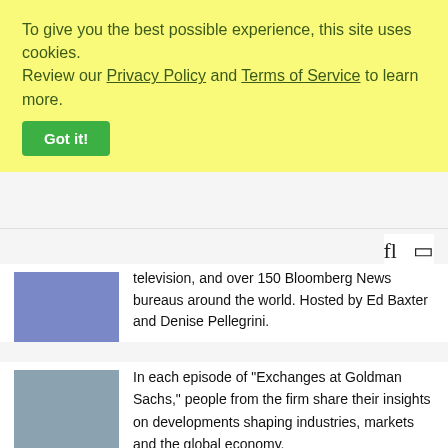To give you the best possible experience, this site uses cookies. Review our Privacy Policy and Terms of Service to learn more.
Got it!
[Figure (other): Navigation icons including search and menu icons]
television, and over 150 Bloomberg News bureaus around the world. Hosted by Ed Baxter and Denise Pellegrini.
[Figure (photo): Blue/purple thumbnail image placeholder for first podcast entry]
[Figure (photo): Blue-gray thumbnail image placeholder for second podcast entry]
In each episode of "Exchanges at Goldman Sachs," people from the firm share their insights on developments shaping industries, markets and the global economy.